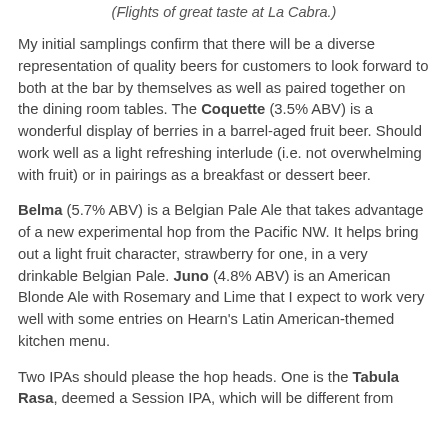(Flights of great taste at La Cabra.)
My initial samplings confirm that there will be a diverse representation of quality beers for customers to look forward to both at the bar by themselves as well as paired together on the dining room tables. The Coquette (3.5% ABV) is a wonderful display of berries in a barrel-aged fruit beer. Should work well as a light refreshing interlude (i.e. not overwhelming with fruit) or in pairings as a breakfast or dessert beer.
Belma (5.7% ABV) is a Belgian Pale Ale that takes advantage of a new experimental hop from the Pacific NW. It helps bring out a light fruit character, strawberry for one, in a very drinkable Belgian Pale. Juno (4.8% ABV) is an American Blonde Ale with Rosemary and Lime that I expect to work very well with some entries on Hearn's Latin American-themed kitchen menu.
Two IPAs should please the hop heads. One is the Tabula Rasa, deemed a Session IPA, which will be different from